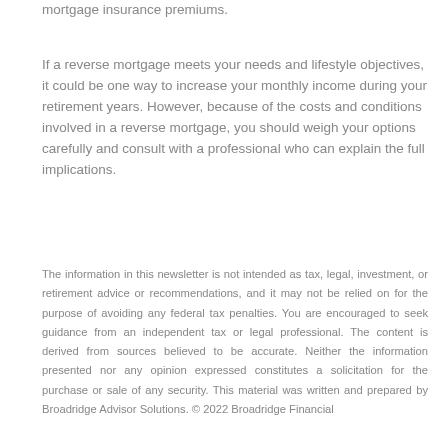mortgage insurance premiums.
If a reverse mortgage meets your needs and lifestyle objectives, it could be one way to increase your monthly income during your retirement years. However, because of the costs and conditions involved in a reverse mortgage, you should weigh your options carefully and consult with a professional who can explain the full implications.
The information in this newsletter is not intended as tax, legal, investment, or retirement advice or recommendations, and it may not be relied on for the purpose of avoiding any federal tax penalties. You are encouraged to seek guidance from an independent tax or legal professional. The content is derived from sources believed to be accurate. Neither the information presented nor any opinion expressed constitutes a solicitation for the purchase or sale of any security. This material was written and prepared by Broadridge Advisor Solutions. © 2022 Broadridge Financial